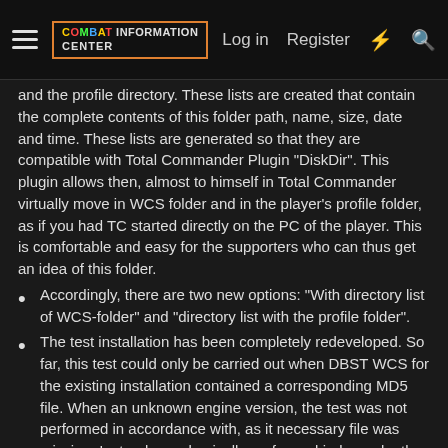Combat Information Center | Log in | Register
and the profile directory. These lists are created that contain the complete contents of this folder path, name, size, date and time. These lists are generated so that they are compatible with Total Commander Plugin "DiskDir". This plugin allows then, almost to himself in Total Commander virtually move in WCS folder and in the player's profile folder, as if you had TC started directly on the PC of the player. This is comfortable and easy for the supporters who can thus get an idea of this folder.
Accordingly, there are two new options: "With directory list of WCS-folder" and "directory list with the profile folder".
The test installation has been completely redeveloped. So far, this test could only be carried out when DBST WCS for the existing installation contained a corresponding MD5 file. When an unknown engine version, the test was not performed in accordance with, as it necessary file was missing. Instead, now basically performed independently of the existing engine MD5 checking all provided files and only then checked for associated versions. For this, the